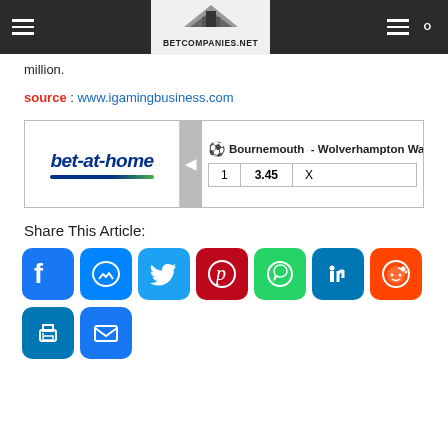BETCOMPANIES.NET
million.
source : www.igamingbusiness.com
[Figure (other): bet-at-home betting widget showing Bournemouth - Wolverhampton Wanderers match with odds: 1 | 3.45 | X]
Share This Article:
[Figure (other): Social sharing icons: Facebook, Messenger, Twitter, Pinterest, WhatsApp, LinkedIn, Reddit, Print, Email]